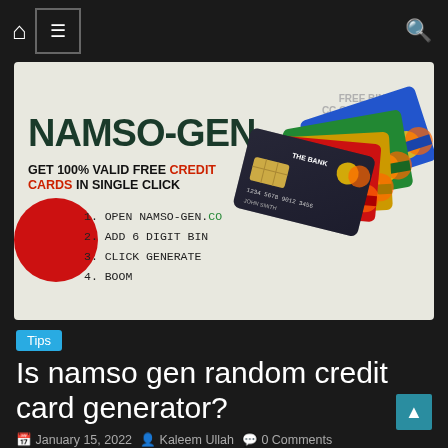Navigation bar with home icon, menu toggle, and search icon
[Figure (illustration): Advertisement banner for NAMSO-GEN.CO credit card generator website. Large bold green/dark text reads NAMSO-GEN.CO. Subtitle: GET 100% VALID FREE CREDIT CARDS IN SINGLE CLICK. Four numbered steps: 1.OPEN NAMSO-GEN.CO, 2.ADD 6 DIGIT BIN, 3.CLICK GENERATE, 4.BOOM. Right side shows fanned credit cards (black, red, yellow/gold, green, blue). Top right text: FREE BIN CC GENERATOR FREE CARDS.]
Tips
Is namso gen random credit card generator?
January 15, 2022  Kaleem Ullah  0 Comments